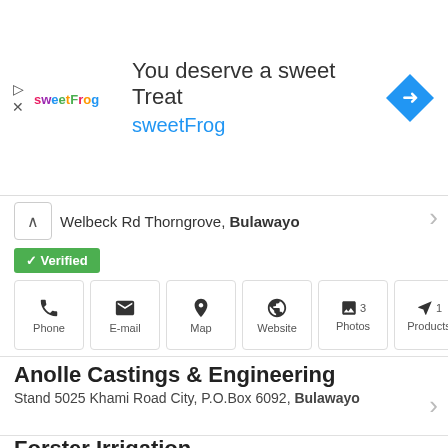[Figure (other): Advertisement banner for sweetFrog frozen yogurt with logo, tagline 'You deserve a sweet Treat', brand name 'sweetFrog', and navigation arrow icon.]
Welbeck Rd Thorngrove, Bulawayo
✓ Verified
Phone | E-mail | Map | Website | Photos 3 | Products 1
Anolle Castings & Engineering
Stand 5025 Khami Road City, P.O.Box 6092, Bulawayo
✓ Verified
Phone | E-mail | Map | Website | Photos 3
Forster Irrigation